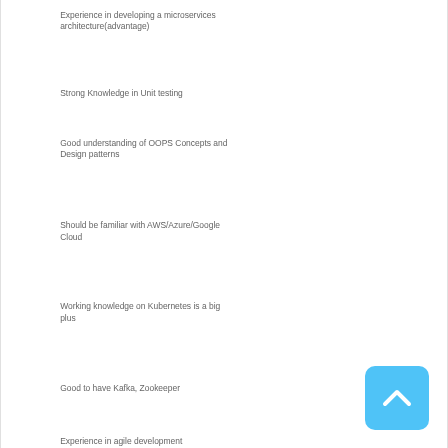Experience in developing a microservices architecture(advantage)
Strong Knowledge in Unit testing
Good understanding of OOPS Concepts and Design patterns
Should be familiar with AWS/Azure/Google Cloud
Working knowledge on Kubernetes is a big plus
Good to have Kafka, Zookeeper
Experience in agile development